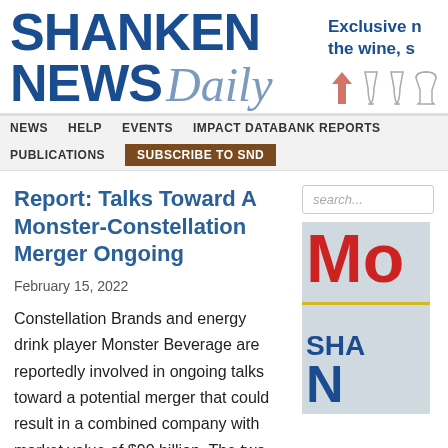SHANKEN NEWS Daily
Exclusive n the wine, s
NEWS  HELP  EVENTS  IMPACT DATABANK REPORTS  PUBLICATIONS  SUBSCRIBE TO SND
Report: Talks Toward A Monster-Constellation Merger Ongoing
February 15, 2022
Constellation Brands and energy drink player Monster Beverage are reportedly involved in ongoing talks toward a potential merger that could result in a combined company with market value of $90 billion. The two companies